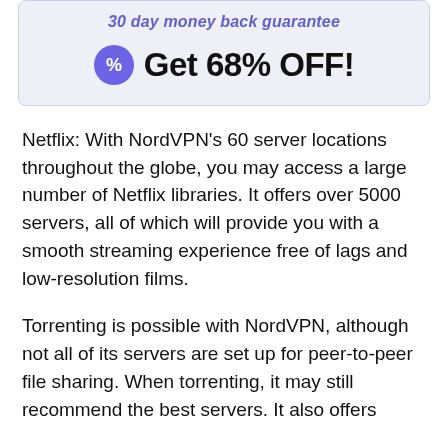[Figure (infographic): Promotional box with light purple background showing '30 day money back guarantee' text in purple italic and a '% Get 68% OFF!' call-to-action with a purple circle badge containing a percent icon.]
Netflix: With NordVPN's 60 server locations throughout the globe, you may access a large number of Netflix libraries. It offers over 5000 servers, all of which will provide you with a smooth streaming experience free of lags and low-resolution films.
Torrenting is possible with NordVPN, although not all of its servers are set up for peer-to-peer file sharing. When torrenting, it may still recommend the best servers. It also offers